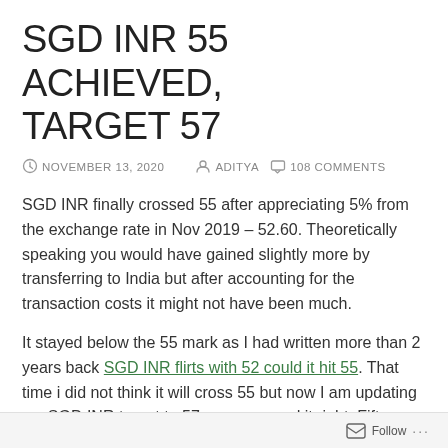SGD INR 55 ACHIEVED, TARGET 57
NOVEMBER 13, 2020   ADITYA   108 COMMENTS
SGD INR finally crossed 55 after appreciating 5% from the exchange rate in Nov 2019 – 52.60. Theoretically speaking you would have gained slightly more by transferring to India but after accounting for the transaction costs it might not have been much.
It stayed below the 55 mark as I had written more than 2 years back SGD INR flirts with 52 could it hit 55. That time i did not think it will cross 55 but now I am updating my SGD INR target to 57, yes you read it right, Fifty Seven!!
By when?